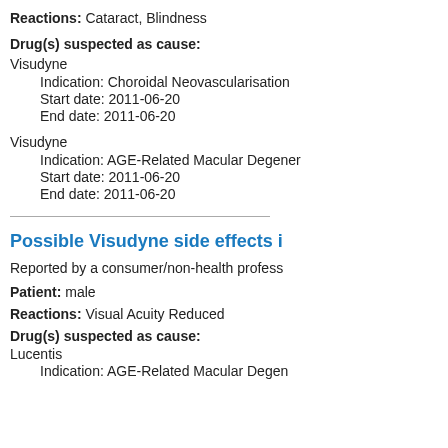Reactions: Cataract, Blindness
Drug(s) suspected as cause:
Visudyne
Indication: Choroidal Neovascularisation
Start date: 2011-06-20
End date: 2011-06-20
Visudyne
Indication: AGE-Related Macular Degener...
Start date: 2011-06-20
End date: 2011-06-20
Possible Visudyne side effects i
Reported by a consumer/non-health profess...
Patient: male
Reactions: Visual Acuity Reduced
Drug(s) suspected as cause:
Lucentis
Indication: AGE-Related Macular Degen...